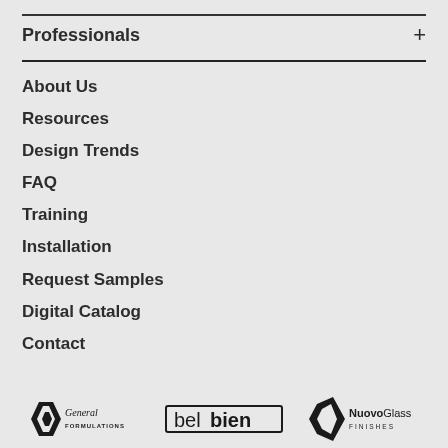Professionals +
About Us
Resources
Design Trends
FAQ
Training
Installation
Request Samples
Digital Catalog
Contact
[Figure (logo): Three brand logos: General Formulations, belbien, NuovoGlass Finishes]